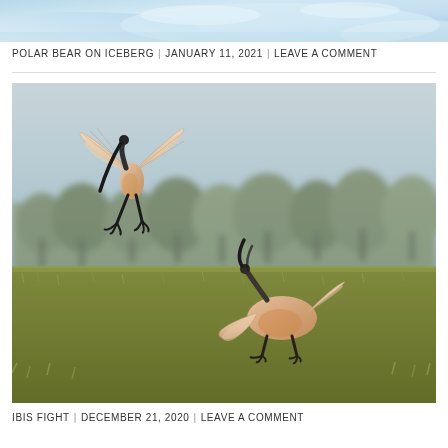[Figure (photo): Partial view of a polar bear on iceberg photograph, showing the top portion cropped at the top of the page with blue/white icy tones]
POLAR BEAR ON ICEBERG | JANUARY 11, 2021 | LEAVE A COMMENT
[Figure (photo): Two ibis birds fighting in a field. One bird is mid-air with wings spread wide, while the other is on the ground with wings open. Both have black curved beaks and black legs. The background shows a grassy field with blurred trees.]
IBIS FIGHT | DECEMBER 21, 2020 | LEAVE A COMMENT